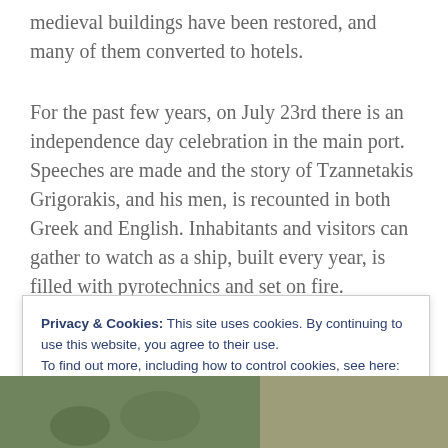medieval buildings have been restored, and many of them converted to hotels.
For the past few years, on July 23rd there is an independence day celebration in the main port. Speeches are made and the story of Tzannetakis Grigorakis, and his men, is recounted in both Greek and English. Inhabitants and visitors can gather to watch as a ship, built every year, is filled with pyrotechnics and set on fire.
Privacy & Cookies: This site uses cookies. By continuing to use this website, you agree to their use.
To find out more, including how to control cookies, see here: Our Cookies Policy
Close and accept
[Figure (photo): A photo strip at the bottom showing outdoor scenery, appears to be a garden or landscape scene.]